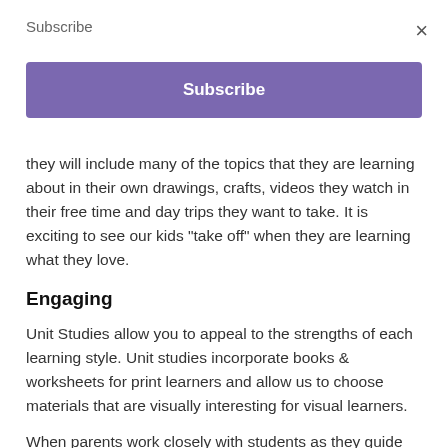Subscribe
Subscribe
they will include many of the topics that they are learning about in their own drawings, crafts, videos they watch in their free time and day trips they want to take. It is exciting to see our kids "take off" when they are learning what they love.
Engaging
Unit Studies allow you to appeal to the strengths of each learning style. Unit studies incorporate books & worksheets for print learners and allow us to choose materials that are visually interesting for visual learners.
When parents work closely with students as they guide them verbally through a unit, students who are auditory learners & those who are relational are benefitted.